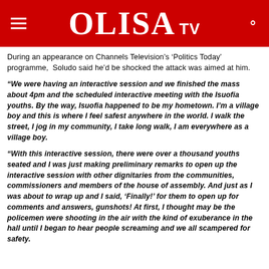OLISA TV
During an appearance on Channels Television’s ‘Politics Today’ programme, Soludo said he’d be shocked the attack was aimed at him.
“We were having an interactive session and we finished the mass about 4pm and the scheduled interactive meeting with the Isuofia youths. By the way, Isuofia happened to be my hometown. I’m a village boy and this is where I feel safest anywhere in the world. I walk the street, I jog in my community, I take long walk, I am everywhere as a village boy.
“With this interactive session, there were over a thousand youths seated and I was just making preliminary remarks to open up the interactive session with other dignitaries from the communities, commissioners and members of the house of assembly. And just as I was about to wrap up and I said, ‘Finally!’ for them to open up for comments and answers, gunshots! At first, I thought may be the policemen were shooting in the air with the kind of exuberance in the hall until I began to hear people screaming and we all scampered for safety.